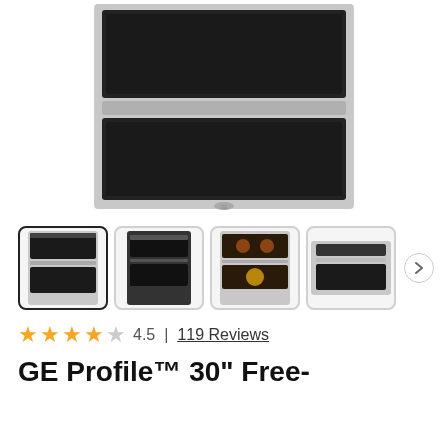[Figure (photo): GE Profile double oven range, stainless steel, front view close-up showing two oven compartments with black interiors and a stainless handle]
[Figure (photo): Four thumbnail images of the GE Profile oven range from different angles and in use, with a navigation arrow on the right]
4.5 | 119 Reviews
GE Profile™ 30" Free-